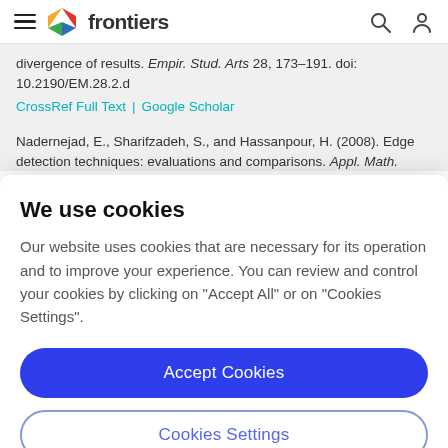frontiers
divergence of results. Empir. Stud. Arts 28, 173–191. doi: 10.2190/EM.28.2.d
CrossRef Full Text | Google Scholar
Nadernejad, E., Sharifzadeh, S., and Hassanpour, H. (2008). Edge detection techniques: evaluations and comparisons. Appl. Math.
We use cookies
Our website uses cookies that are necessary for its operation and to improve your experience. You can review and control your cookies by clicking on "Accept All" or on "Cookies Settings".
Accept Cookies
Cookies Settings